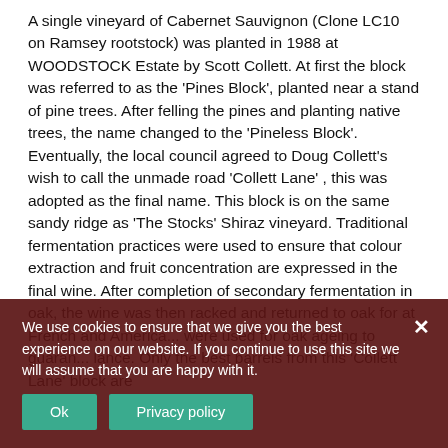A single vineyard of Cabernet Sauvignon (Clone LC10 on Ramsey rootstock) was planted in 1988 at WOODSTOCK Estate by Scott Collett. At first the block was referred to as the ‘Pines Block’, planted near a stand of pine trees. After felling the pines and planting native trees, the name changed to the ‘Pineless Block’. Eventually, the local council agreed to Doug Collett’s wish to call the unmade road ‘Collett Lane’ , this was adopted as the final name. This block is on the same sandy ridge as ‘The Stocks’ Shiraz vineyard. Traditional fermentation practices were used to ensure that colour extraction and fruit concentration are expressed in the final wine. After completion of secondary fermentation in oak, the wine was then racked and returned to oak for at... French and American... were used for oak ageing to guaran... lance. Only the best barrels from this ‘Collett Lane’ block are
We use cookies to ensure that we give you the best experience on our website. If you continue to use this site we will assume that you are happy with it.